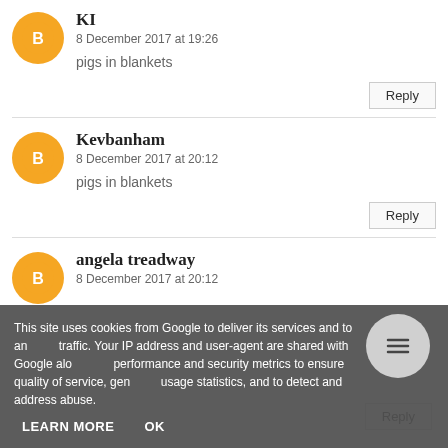KI
8 December 2017 at 19:26
pigs in blankets
Reply
Kevbanham
8 December 2017 at 20:12
pigs in blankets
Reply
angela treadway
8 December 2017 at 20:12
Reply
This site uses cookies from Google to deliver its services and to analyze traffic. Your IP address and user-agent are shared with Google along with performance and security metrics to ensure quality of service, generate usage statistics, and to detect and address abuse.
LEARN MORE
OK